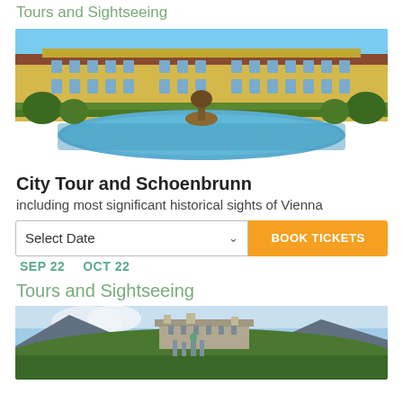Tours and Sightseeing
[Figure (photo): Schoenbrunn Palace facade with fountain and reflection pool in foreground, blue sky background]
City Tour and Schoenbrunn
including most significant historical sights of Vienna
Select Date  BOOK TICKETS
SEP 22   OCT 22
Tours and Sightseeing
[Figure (photo): Fortress Hohensalzburg on a hilltop with city of Salzburg below and mountains in background]